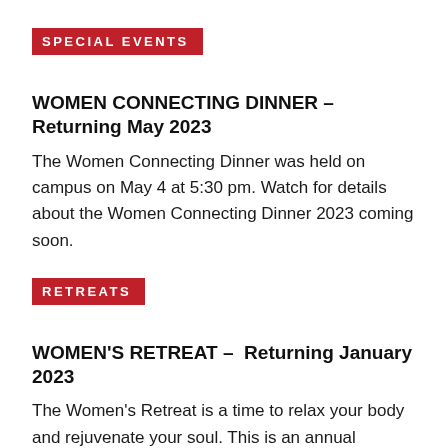SPECIAL EVENTS
WOMEN CONNECTING DINNER – Returning May 2023
The Women Connecting Dinner was held on campus on May 4 at 5:30 pm. Watch for details about the Women Connecting Dinner 2023 coming soon.
RETREATS
WOMEN'S RETREAT –  Returning January 2023
The Women's Retreat is a time to relax your body and rejuvenate your soul. This is an annual weekend of sisterhood and time with God. Join